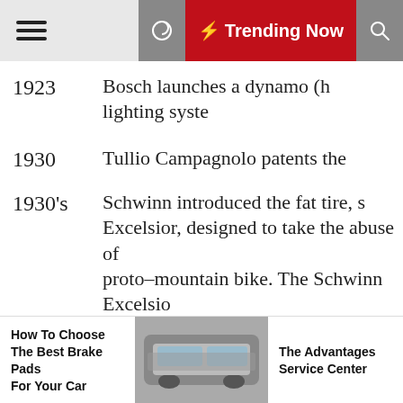Trending Now
1923 — Bosch launches a dynamo (hub) lighting system
1930 — Tullio Campagnolo patents the...
1930's — Schwinn introduced the fat tire, s... Excelsior, designed to take the abuse of ... proto-mountain bike. The Schwinn Excelsio... the early mountain bikes almost...
Classic Cycle
1934 — Recumbents banned from racing. This h... recumbent bicycle design in the closet... re-discovered, primarily by MIT professo... students.
1938 — Thomas M McDonald filed for...
How To Choose The Best Brake Pads For Your Car   The Advantages Service Center